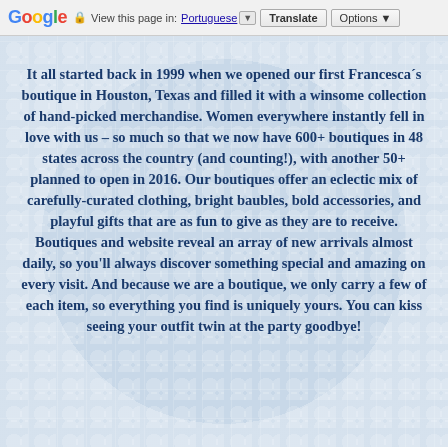Google | View this page in: Portuguese | Translate | Options
It all started back in 1999 when we opened our first Francesca´s boutique in Houston, Texas and filled it with a winsome collection of hand-picked merchandise. Women everywhere instantly fell in love with us – so much so that we now have 600+ boutiques in 48 states across the country (and counting!), with another 50+ planned to open in 2016. Our boutiques offer an eclectic mix of carefully-curated clothing, bright baubles, bold accessories, and playful gifts that are as fun to give as they are to receive. Boutiques and website reveal an array of new arrivals almost daily, so you'll always discover something special and amazing on every visit. And because we are a boutique, we only carry a few of each item, so everything you find is uniquely yours. You can kiss seeing your outfit twin at the party goodbye!